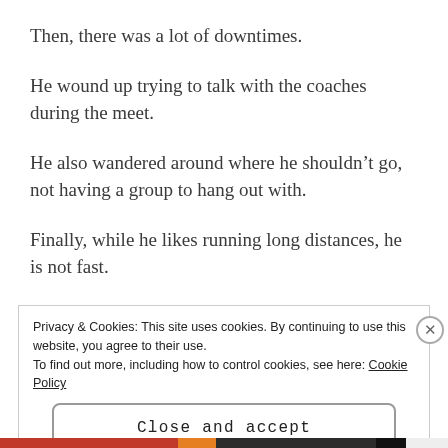Then, there was a lot of downtimes.
He wound up trying to talk with the coaches during the meet.
He also wandered around where he shouldn’t go, not having a group to hang out with.
Finally, while he likes running long distances, he is not fast.
Privacy & Cookies: This site uses cookies. By continuing to use this website, you agree to their use.
To find out more, including how to control cookies, see here: Cookie Policy
Close and accept